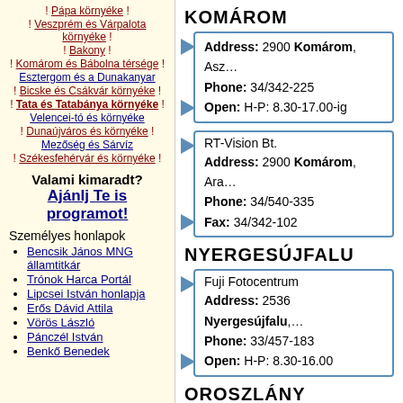! Pápa környéke !
! Veszprém és Várpalota környéke !
! Bakony !
! Komárom és Bábolna térsége !
Esztergom és a Dunakanyar
! Bicske és Csákvár környéke !
! Tata és Tatabánya környéke !
Velencei-tó és környéke
! Dunaújváros és környéke !
Mezőség és Sárvíz
! Székesfehérvár és környéke !
Valami kimaradt?
Ajánlj Te is programot!
Személyes honlapok
Bencsik János MNG államtitkár
Trónok Harca Portál
Lipcsei István honlapja
Erős Dávid Attila
Vörös László
Pánczél István
Benkő Benedek
KOMÁROM
Address: 2900 Komárom, Asz...
Phone: 34/342-225
Open: H-P: 8.30-17.00-ig
RT-Vision Bt.
Address: 2900 Komárom, Ara...
Phone: 34/540-335
Fax: 34/342-102
NYERGESÚJFALU
Fuji Fotocentrum
Address: 2536 Nyergesújfalu,...
Phone: 33/457-183
Open: H-P: 8.30-16.00
OROSZLÁNY